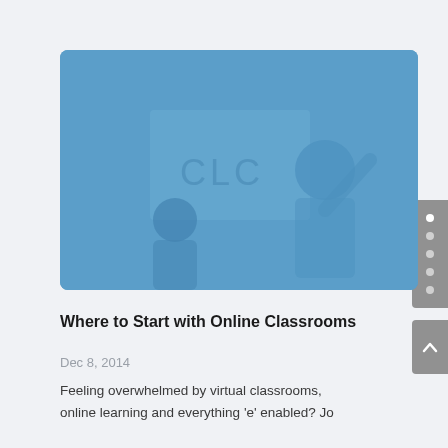[Figure (photo): Classroom scene with a smiling teacher in front of a whiteboard with 'CLC' written on it, overlaid with a blue tint]
Where to Start with Online Classrooms
Dec 8, 2014
Feeling overwhelmed by virtual classrooms, online learning and everything 'e' enabled? Jo